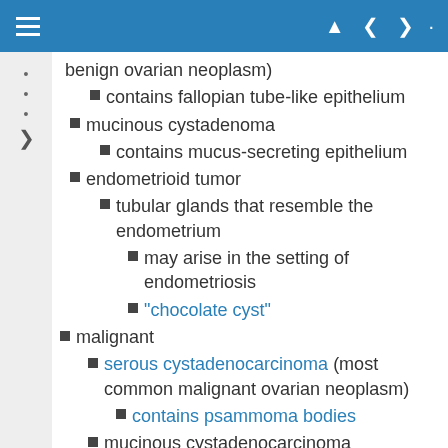Navigation bar with hamburger menu and navigation icons
benign ovarian neoplasm)
contains fallopian tube-like epithelium
mucinous cystadenoma
contains mucus-secreting epithelium
endometrioid tumor
tubular glands that resemble the endometrium
may arise in the setting of endometriosis
"chocolate cyst"
malignant
serous cystadenocarcinoma (most common malignant ovarian neoplasm)
contains psammoma bodies
mucinous cystadenocarcinoma